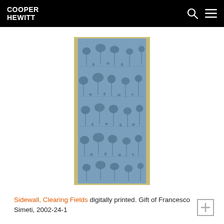COOPER HEWITT
[Figure (photo): Sidewall wallpaper sample showing 'Clearing Fields' pattern — a repeating toile-style design of trees and landscape scenes in dark navy blue printed on a medium blue ground, with a tan/gold border on the left and right edges. The wallpaper is displayed as a tall vertical rectangle.]
Sidewall, Clearing Fields digitally printed. Gift of Francesco Simeti, 2002-24-1